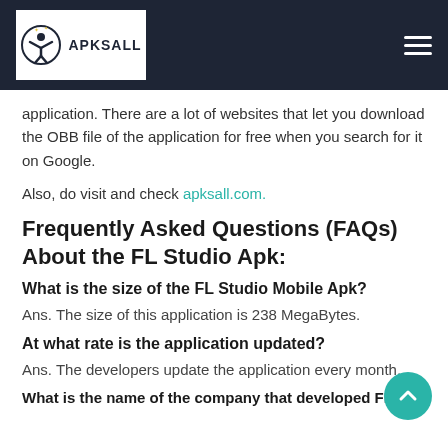APKSALL
application. There are a lot of websites that let you download the OBB file of the application for free when you search for it on Google.
Also, do visit and check apksall.com.
Frequently Asked Questions (FAQs) About the FL Studio Apk:
What is the size of the FL Studio Mobile Apk?
Ans. The size of this application is 238 MegaBytes.
At what rate is the application updated?
Ans. The developers update the application every month.
What is the name of the company that developed FL